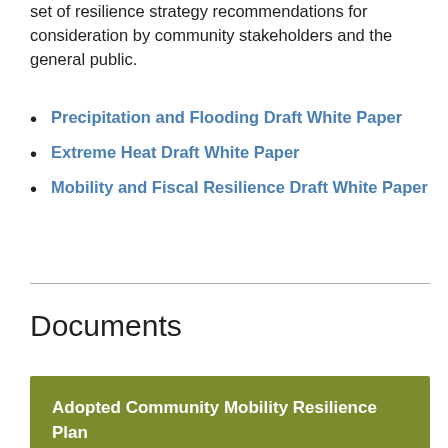set of resilience strategy recommendations for consideration by community stakeholders and the general public.
Precipitation and Flooding Draft White Paper
Extreme Heat Draft White Paper
Mobility and Fiscal Resilience Draft White Paper
Documents
Adopted Community Mobility Resilience Plan